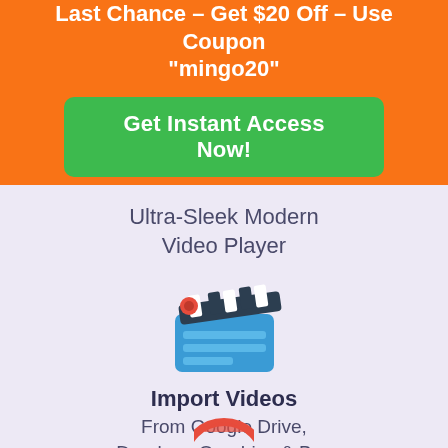Last Chance – Get $20 Off – Use Coupon "mingo20"
Get Instant Access Now!
Ultra-Sleek Modern Video Player
[Figure (illustration): Colorful movie clapperboard icon with blue body, black and white striped top, and a red circle on the top left corner]
Import Videos
From Google Drive, Dropbox, Onedrive & Box